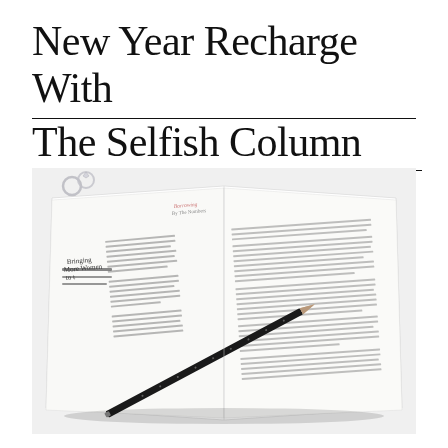New Year Recharge With The Selfish Column
[Figure (photo): Overhead view of an open book/magazine with text columns visible, a black pencil resting diagonally across the pages, and small silver jewelry (rings) in the upper left corner, on a white surface.]